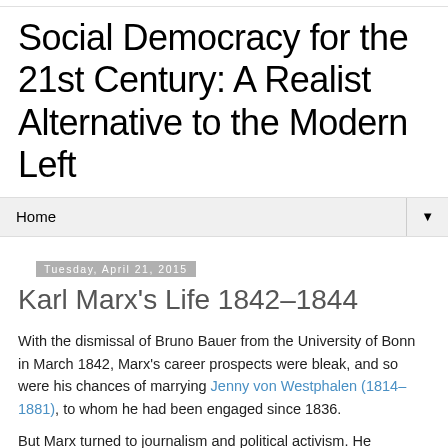Social Democracy for the 21st Century: A Realist Alternative to the Modern Left
Home
Tuesday, April 21, 2015
Karl Marx’s Life 1842–1844
With the dismissal of Bruno Bauer from the University of Bonn in March 1842, Marx’s career prospects were bleak, and so were his chances of marrying Jenny von Westphalen (1814–1881), to whom he had been engaged since 1836.
But Marx turned to journalism and political activism. He